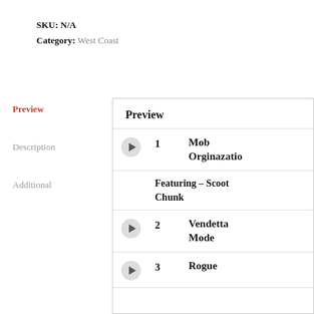SKU: N/A
Category: West Coast
Preview
Description
Additional
| Preview |
| --- |
| ▶ | 1 | Mob Orginazatio |
|  |  | Featuring – Scoot Chunk |
| ▶ | 2 | Vendetta Mode |
| ▶ | 3 | Rogue |